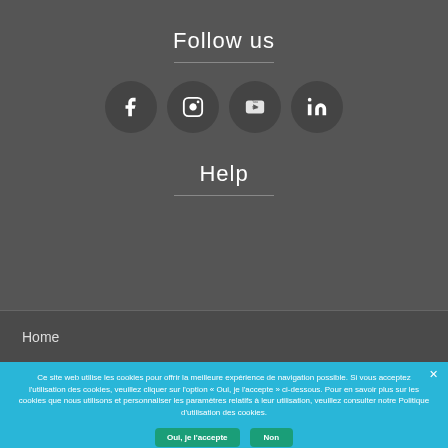Follow us
[Figure (illustration): Four circular social media icons: Facebook (f), Instagram (camera), YouTube (play button with 'You Tube' text), LinkedIn (in)]
Help
Home
Ce site web utilise les cookies pour offrir la meilleure expérience de navigation possible. Si vous acceptez l'utilisation des cookies, veuillez cliquer sur l'option « Oui, je l'accepte » ci-dessous. Pour en savoir plus sur les cookies que nous utilisons et personnaliser les paramètres relatifs à leur utilisation, veuillez consulter notre Politique d'utilisation des cookies.
Oui, je l'accepte
Non